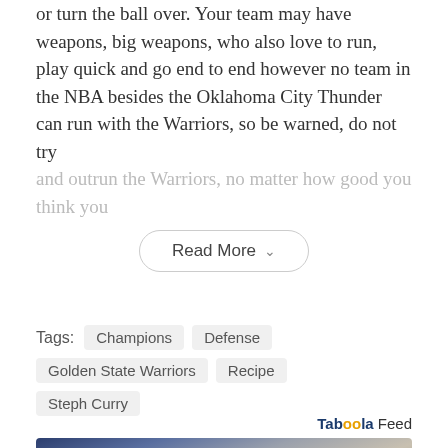or turn the ball over. Your team may have weapons, big weapons, who also love to run, play quick and go end to end however no team in the NBA besides the Oklahoma City Thunder can run with the Warriors, so be warned, do not try and outrun the Warriors, no matter how good you think you
Read More
Tags: Champions  Defense  Golden State Warriors  Recipe  Steph Curry
Taboola Feed
[Figure (photo): Close-up photo of a cat's face and ear, with tabby markings, resting against a blue background and denim fabric]